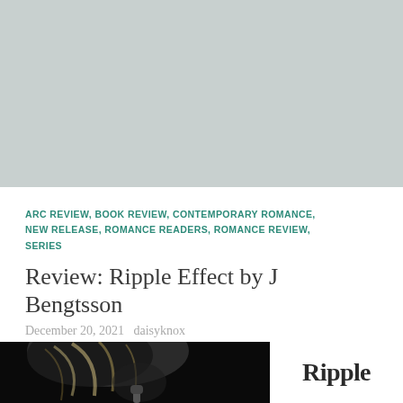[Figure (photo): Gray background top section of webpage]
ARC REVIEW, BOOK REVIEW, CONTEMPORARY ROMANCE, NEW RELEASE, ROMANCE READERS, ROMANCE REVIEW, SERIES
Review: Ripple Effect by J Bengtsson
December 20, 2021  daisyknox
[Figure (photo): Black and white photo of a person with curly/wavy hair, partially visible, on the left side of the bottom section. Text 'Ripple' appears on the right side.]